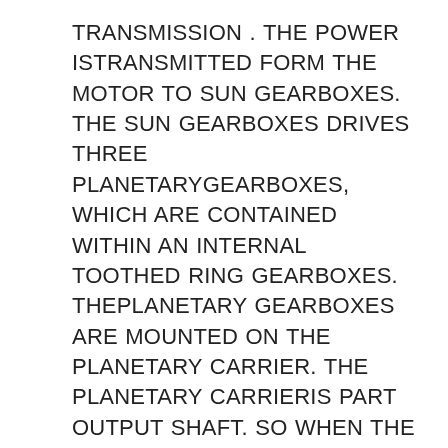TRANSMISSION . THE POWER ISTRANSMITTED FORM THE MOTOR TO SUN GEARBOXES. THE SUN GEARBOXES DRIVES THREE PLANETARYGEARBOXES, WHICH ARE CONTAINED WITHIN AN INTERNAL TOOTHED RING GEARBOXES. THEPLANETARY GEARBOXES ARE MOUNTED ON THE PLANETARY CARRIER. THE PLANETARY CARRIERIS PART OUTPUT SHAFT. SO WHEN THE SUN GEARBOXES ROTATES, IT DRIVES THE THREEPLANETARY GEARBOXES INSIDE THE RING GEARBOXES. AS PLANETARY GEARBOXES ROTATEWITH CARRIES AND AUTOMATICALLY THE HIGHEST TORQUE AND STIFFNESS FOR A GIVENENVELOPE. THE OTHER SIGNIFICANT ADVANTAGES ARE SIMPLE AND EFFICIENT LUBRICATIONAND A BALANCED SYSTEM AT HIGH SPEEDS. THE BALANCED PLANETARY KINEMATICS AND THEASSOCIATED LOAD SHARING MAKES THE